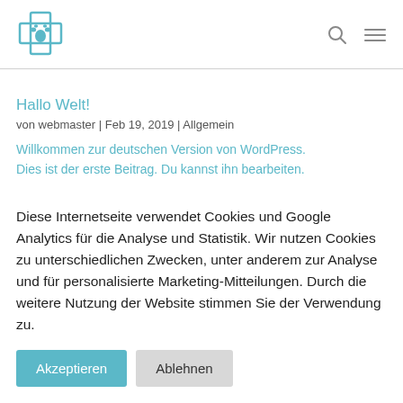[Figure (logo): Teal/cyan cross with paw print logo icon]
Hallo Welt!
von webmaster | Feb 19, 2019 | Allgemein
Willkommen zur deutschen Version von WordPress. Dies ist der erste Beitrag. Du kannst ihn bearbeiten.
Diese Internetseite verwendet Cookies und Google Analytics für die Analyse und Statistik. Wir nutzen Cookies zu unterschiedlichen Zwecken, unter anderem zur Analyse und für personalisierte Marketing-Mitteilungen. Durch die weitere Nutzung der Website stimmen Sie der Verwendung zu.
Akzeptieren | Ablehnen